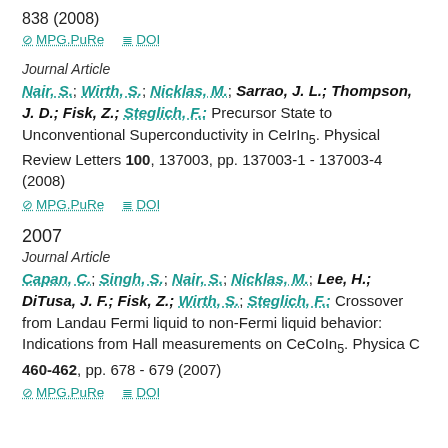838 (2008)
⊘ MPG.PuRe   ≣ DOI
Journal Article
Nair, S.; Wirth, S.; Nicklas, M.; Sarrao, J. L.; Thompson, J. D.; Fisk, Z.; Steglich, F.: Precursor State to Unconventional Superconductivity in CeIrIn5. Physical Review Letters 100, 137003, pp. 137003-1 - 137003-4 (2008)
⊘ MPG.PuRe   ≣ DOI
2007
Journal Article
Capan, C.; Singh, S.; Nair, S.; Nicklas, M.; Lee, H.; DiTusa, J. F.; Fisk, Z.; Wirth, S.; Steglich, F.: Crossover from Landau Fermi liquid to non-Fermi liquid behavior: Indications from Hall measurements on CeCoIn5. Physica C 460-462, pp. 678 - 679 (2007)
⊘ MPG.PuRe   ≣ DOI